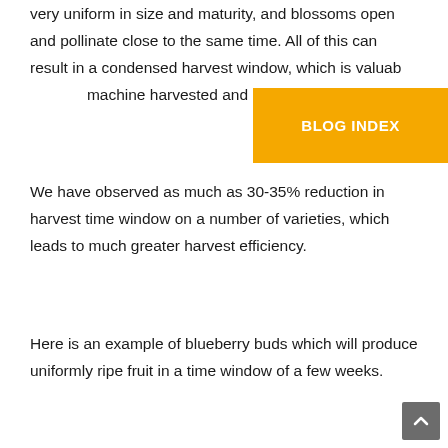very uniform in size and maturity, and blossoms open and pollinate close to the same time. All of this can result in a condensed harvest window, which is valuab[le for both] machine harvested and hand pi[cked fruit].
We have observed as much as 30-35% reduction in harvest time window on a number of varieties, which leads to much greater harvest efficiency.
Here is an example of blueberry buds which will produce uniformly ripe fruit in a time window of a few weeks.